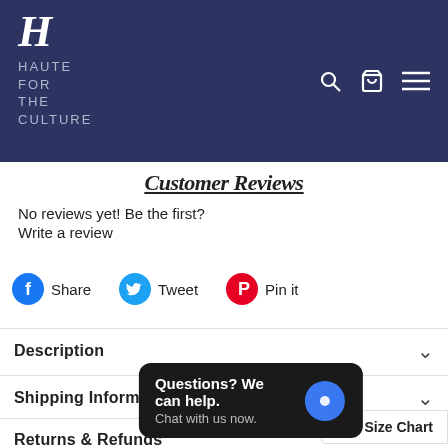[Figure (logo): Haute For The Culture logo: stylized H in white over dark navy background with text 'HAUTE FOR THE CULTURE' in light grey below]
Customer Reviews
No reviews yet! Be the first?
Write a review
Share   Tweet   Pin it
Description
Shipping Information
Returns & Refunds
Questions? We can help.
Chat with us now.
Size Chart